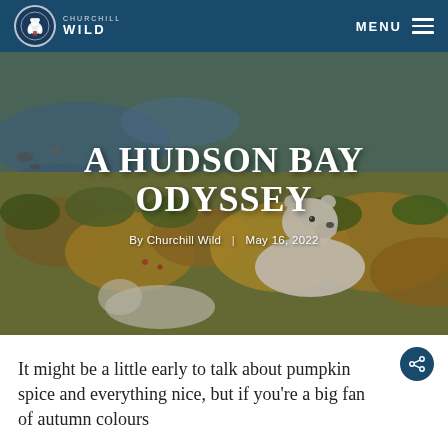Churchill Wild | MENU
[Figure (photo): A polar bear lying in tundra vegetation with water and rocky terrain in the background. Autumn colours of orange, yellow, and green foliage visible.]
A HUDSON BAY ODYSSEY
By Churchill Wild  |  May 16, 2022
It might be a little early to talk about pumpkin spice and everything nice, but if you're a big fan of autumn colours